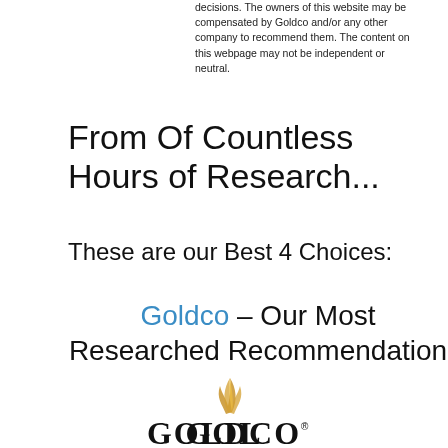decisions. The owners of this website may be compensated by Goldco and/or any other company to recommend them. The content on this webpage may not be independent or neutral.
From Of Countless Hours of Research...
These are our Best 4 Choices:
Goldco – Our Most Researched Recommendation
[Figure (logo): Goldco company logo with golden flame/leaf design above stylized GOLDCO text with registered trademark symbol]